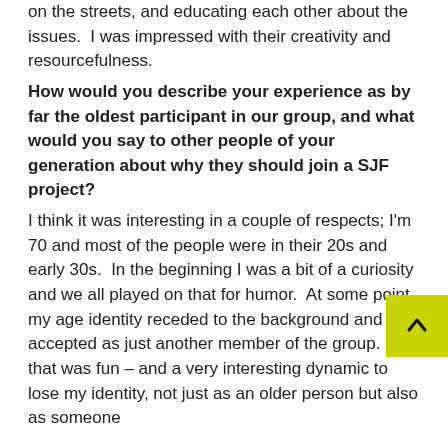on the streets, and educating each other about the issues.  I was impressed with their creativity and resourcefulness.
How would you describe your experience as by far the oldest participant in our group, and what would you say to other people of your generation about why they should join a SJF project?
I think it was interesting in a couple of respects; I'm 70 and most of the people were in their 20s and early 30s.  In the beginning I was a bit of a curiosity and we all played on that for humor.  At some point my age identity receded to the background and I felt accepted as just another member of the group.  And that was fun – and a very interesting dynamic to lose my identity, not just as an older person but also as someone